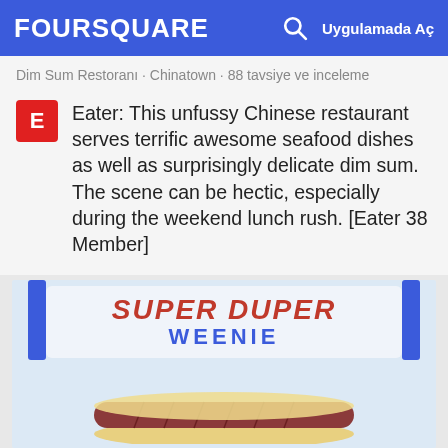FOURSQUARE  Uygulamada Aç
Dim Sum Restoranı · Chinatown · 88 tavsiye ve inceleme
Eater: This unfussy Chinese restaurant serves terrific awesome seafood dishes as well as surprisingly delicate dim sum. The scene can be hectic, especially during the weekend lunch rush. [Eater 38 Member]
[Figure (photo): Photo of Super Duper Weenie sign with red cursive text 'SUPER DUPER' and blue bold text 'WEENIE', with a hotdog illustration below, blue poles framing the sign against a light blue background.]